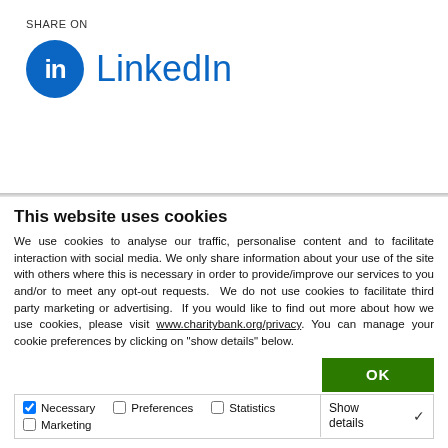SHARE ON
[Figure (logo): LinkedIn logo with blue circle icon containing 'in' text and LinkedIn wordmark in blue]
This website uses cookies
We use cookies to analyse our traffic, personalise content and to facilitate interaction with social media. We only share information about your use of the site with others where this is necessary in order to provide/improve our services to you and/or to meet any opt-out requests.  We do not use cookies to facilitate third party marketing or advertising.  If you would like to find out more about how we use cookies, please visit www.charitybank.org/privacy. You can manage your cookie preferences by clicking on "show details" below.